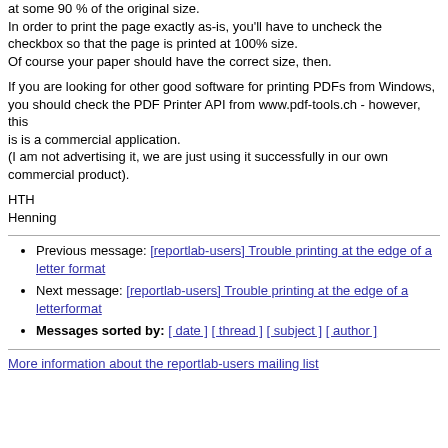at some 90 % of the original size.
In order to print the page exactly as-is, you'll have to uncheck the checkbox so that the page is printed at 100% size.
Of course your paper should have the correct size, then.
If you are looking for other good software for printing PDFs from Windows,
you should check the PDF Printer API from www.pdf-tools.ch - however, this
is is a commercial application.
(I am not advertising it, we are just using it successfully in our own commercial product).
HTH
Henning
Previous message: [reportlab-users] Trouble printing at the edge of a letter format
Next message: [reportlab-users] Trouble printing at the edge of a letterformat
Messages sorted by: [ date ] [ thread ] [ subject ] [ author ]
More information about the reportlab-users mailing list